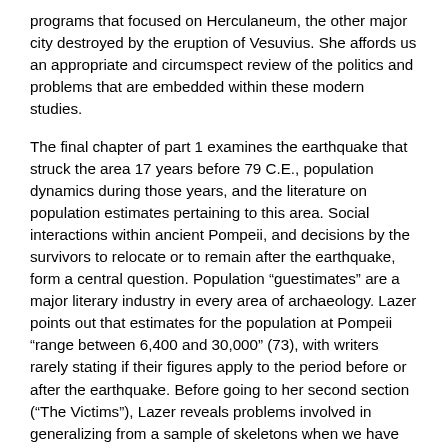programs that focused on Herculaneum, the other major city destroyed by the eruption of Vesuvius. She affords us an appropriate and circumspect review of the politics and problems that are embedded within these modern studies.
The final chapter of part 1 examines the earthquake that struck the area 17 years before 79 C.E., population dynamics during those years, and the literature on population estimates pertaining to this area. Social interactions within ancient Pompeii, and decisions by the survivors to relocate or to remain after the earthquake, form a central question. Population “guestimates” are a major literary industry in every area of archaeology. Lazer points out that estimates for the population at Pompeii “range between 6,400 and 30,000” (73), with writers rarely stating if their figures apply to the period before or after the earthquake. Before going to her second section (“The Victims”), Lazer reveals problems involved in generalizing from a sample of skeletons when we have almost no idea what the total population may have been or what percentage of those people were killed on that specific day. This basic question of sample size, so fundamental within the field of paleopathology, is carefully discussed.